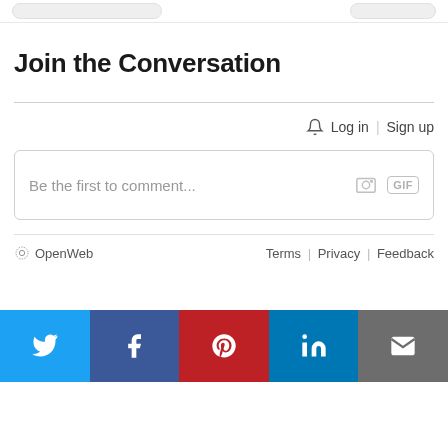[Figure (screenshot): Top bar with two pill/rounded rectangle UI elements (search bars or buttons) partially visible at the top of the page]
Join the Conversation
Log in | Sign up
Be the first to comment...
OpenWeb   Terms | Privacy | Feedback
[Figure (infographic): Social sharing bar with five buttons: Twitter (blue), Facebook (dark blue), Pinterest (red), LinkedIn (blue), Email (grey)]